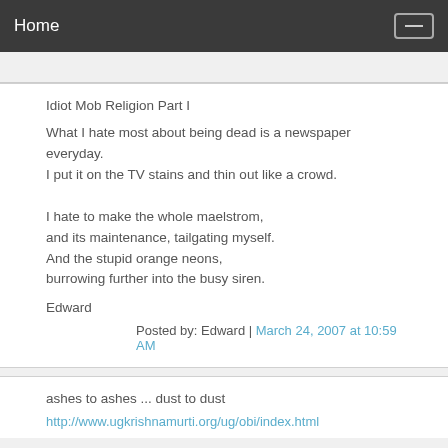Home
Idiot Mob Religion Part I
What I hate most about being dead is a newspaper everyday.
I put it on the TV stains and thin out like a crowd.

I hate to make the whole maelstrom,
and its maintenance, tailgating myself.
And the stupid orange neons,
burrowing further into the busy siren.

Edward
Posted by: Edward | March 24, 2007 at 10:59 AM
ashes to ashes ... dust to dust
http://www.ugkrishnamurti.org/ug/obi/index.html